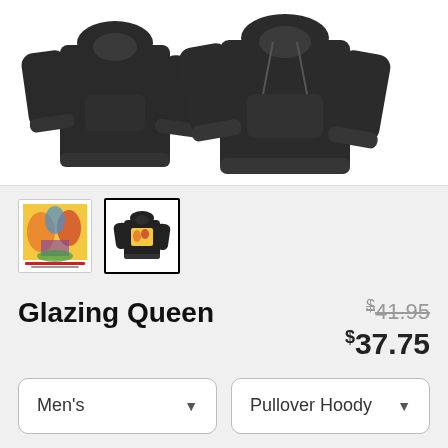[Figure (photo): Dark gray/charcoal pullover hoodie shown from front and back on a light background]
[Figure (photo): Small thumbnail: colorful art print image]
[Figure (photo): Small thumbnail (selected): black pullover hoodie with art print on back]
Glazing Queen
$41.95 (original price, struck through) $37.75 (sale price)
Men's (dropdown)
Pullover Hoody (dropdown)
SELECT YOUR FIT